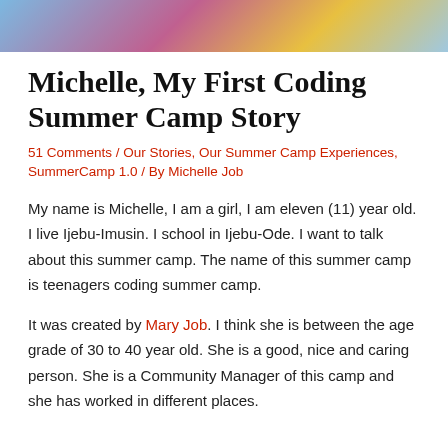[Figure (photo): Colorful photo strip at top of page showing people at a summer camp event with blue, pink, and gold colors]
Michelle, My First Coding Summer Camp Story
51 Comments / Our Stories, Our Summer Camp Experiences, SummerCamp 1.0 / By Michelle Job
My name is Michelle, I am a girl, I am eleven (11) year old. I live Ijebu-Imusin. I school in Ijebu-Ode. I want to talk about this summer camp. The name of this summer camp is teenagers coding summer camp.
It was created by Mary Job. I think she is between the age grade of 30 to 40 year old. She is a good, nice and caring person. She is a Community Manager of this camp and she has worked in different places.